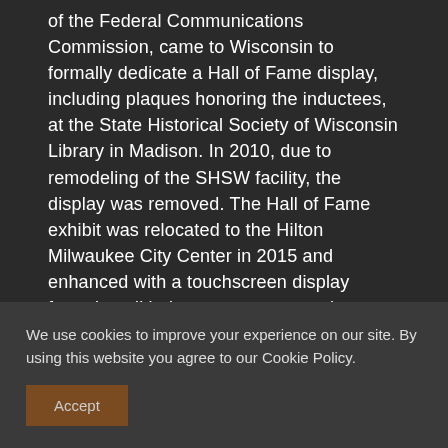of the Federal Communications Commission, came to Wisconsin to formally dedicate a Hall of Fame display, including plaques honoring the inductees, at the State Historical Society of Wisconsin Library in Madison. In 2010, due to remodeling of the SHSW facility, the display was removed. The Hall of Fame exhibit was relocated to the Hilton Milwaukee City Center in 2015 and enhanced with a touchscreen display featuring all inductee commemorative videos.
Categories
We use cookies to improve your experience on our site. By using this website you agree to our Cookie Policy.